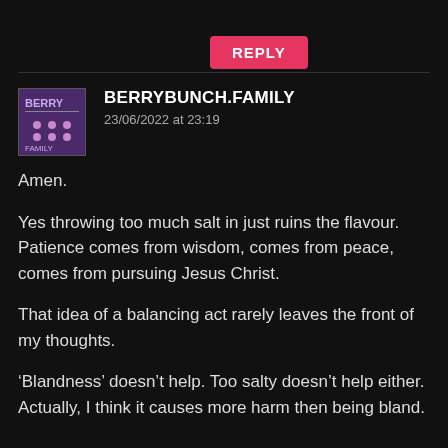[Figure (other): Pink/red REPLY button]
BERRYBUNCH.FAMILY
23/06/2022 at 23:19
Amen.

Yes throwing too much salt in just ruins the flavour. Patience comes from wisdom, comes from peace, comes from pursuing Jesus Christ.

That idea of a balancing act rarely leaves the front of my thoughts.

‘Blandness’ doesn’t help. Too salty doesn’t help either. Actually, I think it causes more harm then being bland.